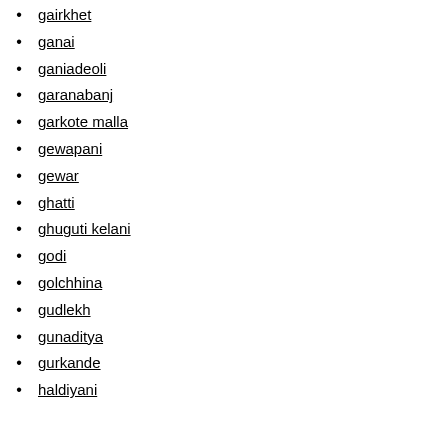gairkhet
ganai
ganiadeoli
garanabanj
garkote malla
gewapani
gewar
ghatti
ghuguti kelani
godi
golchhina
gudlekh
gunaditya
gurkande
haldiyani